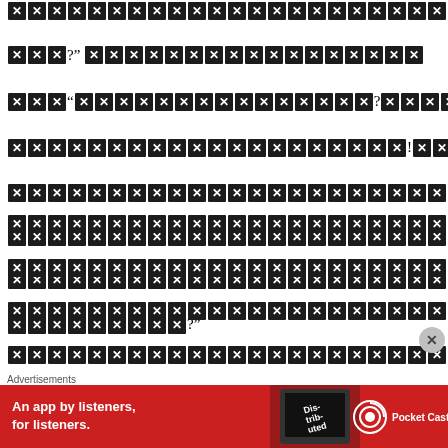[redacted text paragraph 1 with punctuation ?" and " and ? and ! and ?"]
[redacted text paragraph 2, four lines of redacted content]
[Figure (infographic): Advertisement banner for Pocket Casts app: red background with white text 'An app by listeners, for listeners.' and Pocket Casts logo, phone image showing 'Distributed' text]
Advertisements